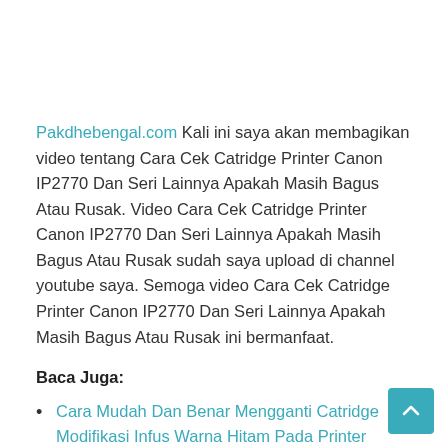Pakdhebengal.com Kali ini saya akan membagikan video tentang Cara Cek Catridge Printer Canon IP2770 Dan Seri Lainnya Apakah Masih Bagus Atau Rusak. Video Cara Cek Catridge Printer Canon IP2770 Dan Seri Lainnya Apakah Masih Bagus Atau Rusak sudah saya upload di channel youtube saya. Semoga video Cara Cek Catridge Printer Canon IP2770 Dan Seri Lainnya Apakah Masih Bagus Atau Rusak ini bermanfaat.
Baca Juga:
Cara Mudah Dan Benar Mengganti Catridge Modifikasi Infus Warna Hitam Pada Printer Canon IP2770.
Atau Artikel Printer Saya Lainnya.